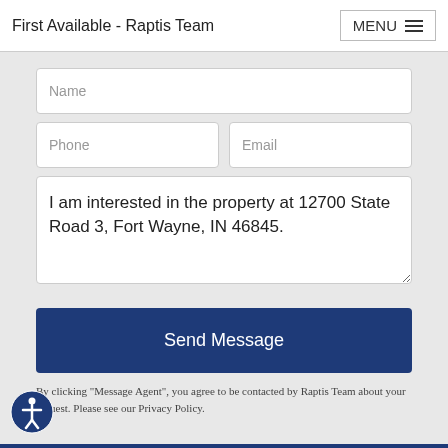First Available - Raptis Team | MENU
Name
Phone
Email
I am interested in the property at 12700 State Road 3, Fort Wayne, IN 46845.
Send Message
By clicking "Message Agent", you agree to be contacted by Raptis Team about your request. Please see our Privacy Policy.